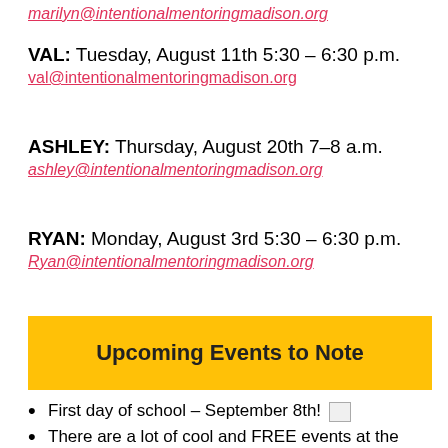marilyn@intentionalmentoringmadison.org
VAL: Tuesday, August 11th 5:30 – 6:30 p.m.
val@intentionalmentoringmadison.org
ASHLEY: Thursday, August 20th 7–8 a.m.
ashley@intentionalmentoringmadison.org
RYAN: Monday, August 3rd 5:30 – 6:30 p.m.
Ryan@intentionalmentoringmadison.org
Upcoming Events to Note
First day of school – September 8th!
There are a lot of cool and FREE events at the Dream Bank on E. Washington St.. Check out the AmFam Dream Bank site for more info and to register.
For a listing of local events